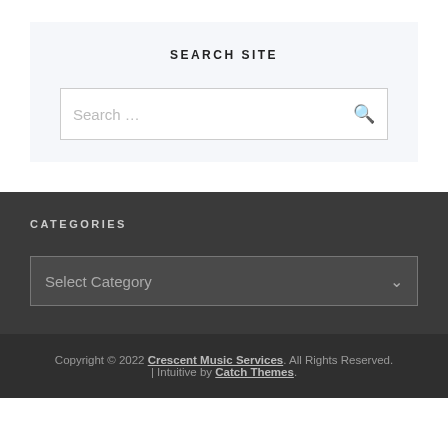SEARCH SITE
[Figure (screenshot): Search input box with placeholder text 'Search ...' and a search icon button on the right]
CATEGORIES
[Figure (screenshot): Dropdown select box with placeholder 'Select Category' and a chevron arrow on the right]
Copyright © 2022 Crescent Music Services. All Rights Reserved. | Intuitive by Catch Themes.